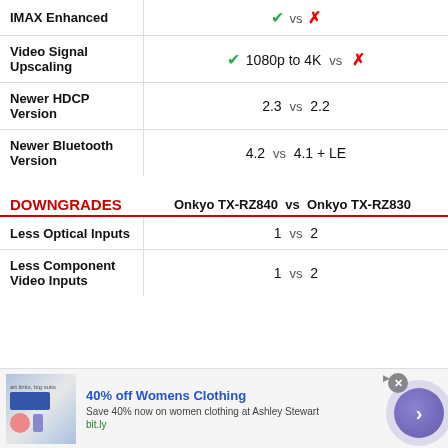| Feature | Comparison |
| --- | --- |
| IMAX Enhanced | ✓ vs ✗ |
| Video Signal Upscaling | ✓ 1080p to 4K  vs  ✗ |
| Newer HDCP Version | 2.3  vs  2.2 |
| Newer Bluetooth Version | 4.2  vs  4.1 + LE |
DOWNGRADES   Onkyo TX-RZ840  vs  Onkyo TX-RZ830
| Feature | Comparison |
| --- | --- |
| Less Optical Inputs | 1  vs  2 |
| Less Component Video Inputs | 1  vs  2 |
[Figure (infographic): Advertisement banner: 40% off Womens Clothing at Ashley Stewart, bit.ly link, with navigation arrow button]